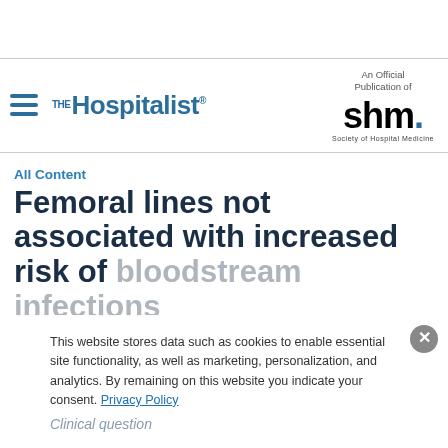[Figure (logo): The Hospitalist logo with hamburger menu icon on the left, and SHM (Society of Hospital Medicine) logo on the right with text 'An Official Publication of']
All Content
Femoral lines not associated with increased risk of bloodstream infections
This website stores data such as cookies to enable essential site functionality, as well as marketing, personalization, and analytics. By remaining on this website you indicate your consent. Privacy Policy
Clinical question